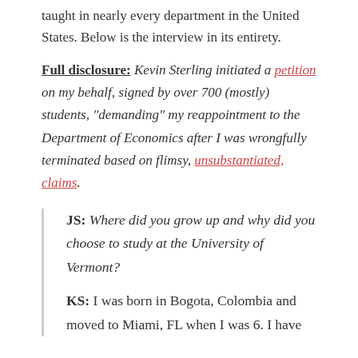taught in nearly every department in the United States. Below is the interview in its entirety.
Full disclosure: Kevin Sterling initiated a petition on my behalf, signed by over 700 (mostly) students, "demanding" my reappointment to the Department of Economics after I was wrongfully terminated based on flimsy, unsubstantiated, claims.
JS: Where did you grow up and why did you choose to study at the University of Vermont?
KS: I was born in Bogota, Colombia and moved to Miami, FL when I was 6. I have